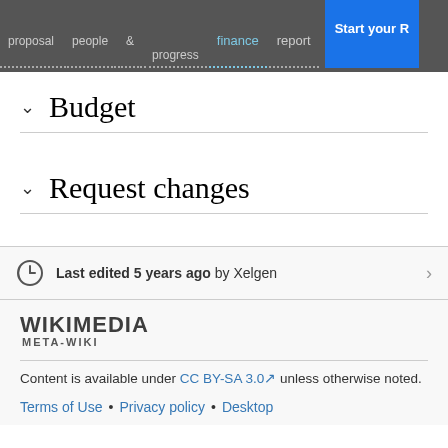[Figure (screenshot): Navigation bar with items: proposal, people, & (finance), progress, finance, report, Start your R button]
Budget
Request changes
Last edited 5 years ago by Xelgen
[Figure (logo): Wikimedia Meta-Wiki logo]
Content is available under CC BY-SA 3.0 unless otherwise noted.
Terms of Use • Privacy policy • Desktop